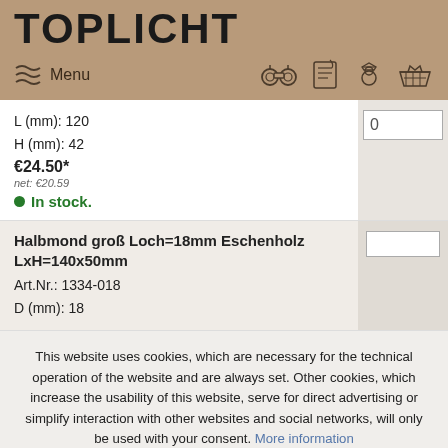TOPLICHT
Menu
L (mm): 120
H (mm): 42
€24.50*
net: €20.59
● In stock.
Halbmond groß Loch=18mm Eschenholz LxH=140x50mm
Art.Nr.: 1334-018
D (mm): 18
This website uses cookies, which are necessary for the technical operation of the website and are always set. Other cookies, which increase the usability of this website, serve for direct advertising or simplify interaction with other websites and social networks, will only be used with your consent. More information
Decline
Accept all
Configure